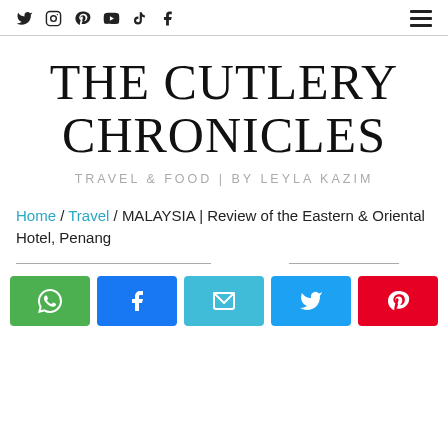Social icons: Twitter, Instagram, Pinterest, YouTube, TikTok, Facebook | Hamburger menu
THE CUTLERY CHRONICLES
TRAVEL & FOOD | BY LEYLA KAZIM
Home / Travel / MALAYSIA | Review of the Eastern & Oriental Hotel, Penang
[Figure (infographic): Share buttons: WhatsApp (green), Facebook (blue), Email (teal), Twitter (blue), Pinterest (red)]